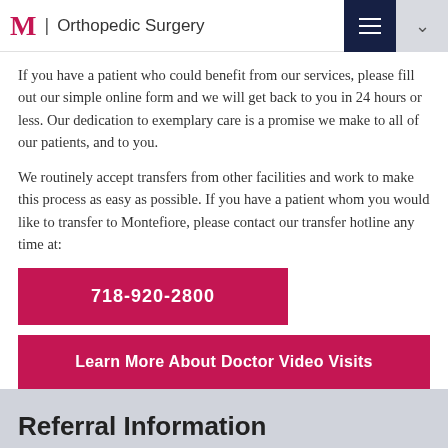M | Orthopedic Surgery
If you have a patient who could benefit from our services, please fill out our simple online form and we will get back to you in 24 hours or less. Our dedication to exemplary care is a promise we make to all of our patients, and to you.
We routinely accept transfers from other facilities and work to make this process as easy as possible. If you have a patient whom you would like to transfer to Montefiore, please contact our transfer hotline any time at:
718-920-2800
Learn More About Doctor Video Visits
Referral Information